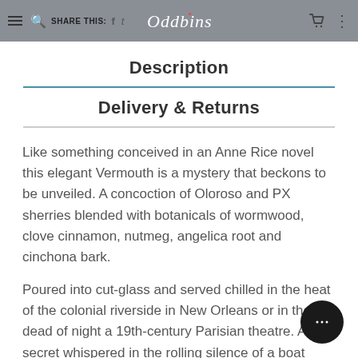Oddbins — SHARE THIS: [hamburger, search, facebook, twitter icons]
Description
Delivery & Returns
Like something conceived in an Anne Rice novel this elegant Vermouth is a mystery that beckons to be unveiled. A concoction of Oloroso and PX sherries blended with botanicals of wormwood, clove cinnamon, nutmeg, angelica root and cinchona bark.
Poured into cut-glass and served chilled in the heat of the colonial riverside in New Orleans or in the dead of night a 19th-century Parisian theatre. A secret whispered in the rolling silence of a boat belly. That becomes a welcome drink. After the last sip of every conversation is found of